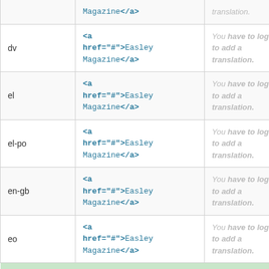| Language | Source | Translation | Action |
| --- | --- | --- | --- |
|  | Magazine</a> | translation. |  |
| dv | <a href="#">Easley Magazine</a> | You have to log in to add a translation. | Details |
| el | <a href="#">Easley Magazine</a> | You have to log in to add a translation. | Details |
| el-po | <a href="#">Easley Magazine</a> | You have to log in to add a translation. | Details |
| en-gb | <a href="#">Easley Magazine</a> | You have to log in to add a translation. | Details |
| eo | <a href="#">Easley Magazine</a> | You have to log in to add a translation. | Details |